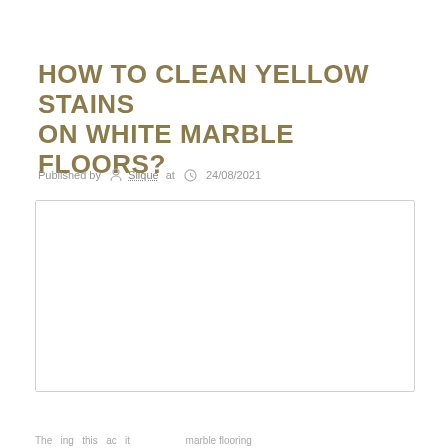HOW TO CLEAN YELLOW STAINS ON WHITE MARBLE FLOORS?
Published by Slique at 24/08/2021
[Figure (photo): Image placeholder - white/blank image area with light border]
The...ing...this...ac...it...ae...ae...ae...marble flooring